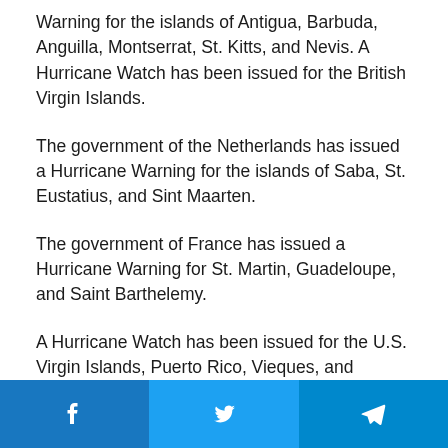Warning for the islands of Antigua, Barbuda, Anguilla, Montserrat, St. Kitts, and Nevis. A Hurricane Watch has been issued for the British Virgin Islands.
The government of the Netherlands has issued a Hurricane Warning for the islands of Saba, St. Eustatius, and Sint Maarten.
The government of France has issued a Hurricane Warning for St. Martin, Guadeloupe, and Saint Barthelemy.
A Hurricane Watch has been issued for the U.S. Virgin Islands, Puerto Rico, Vieques, and Culebra.
[Figure (other): Social media share buttons bar: Facebook (blue), Twitter (light blue), Telegram (dark blue)]